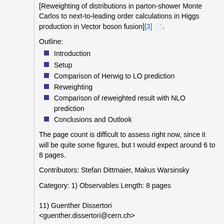[Reweighting of distributions in parton-shower Monte Carlos to next-to-leading order calculations in Higgs production in Vector boson fusion][3] 📄.
Outline:
Introduction
Setup
Comparison of Herwig to LO prediction
Reweighting
Comparison of reweighted result with NLO prediction
Conclusions and Outlook
The page count is difficult to assess right now, since it will be quite some figures, but I would expect around 6 to 8 pages.
Contributors: Stefan Dittmaier, Makus Warsinsky
Category: 1) Observables Length: 8 pages
11) Guenther Dissertori <guenther.dissertori@cern.ch>